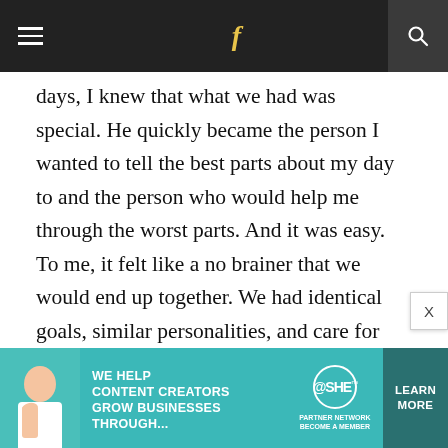≡  f  🔍
days, I knew that what we had was special. He quickly became the person I wanted to tell the best parts about my day to and the person who would help me through the worst parts. And it was easy. To me, it felt like a no brainer that we would end up together. We had identical goals, similar personalities, and care for one another that was deeply rooted. I should be clear that very early on we said we didn't know what our relationship was. Some days I imagined passionate physical encounters
[Figure (infographic): Advertisement banner for SHE Partner Network: 'We help content creators grow businesses through...' with a Learn More button]